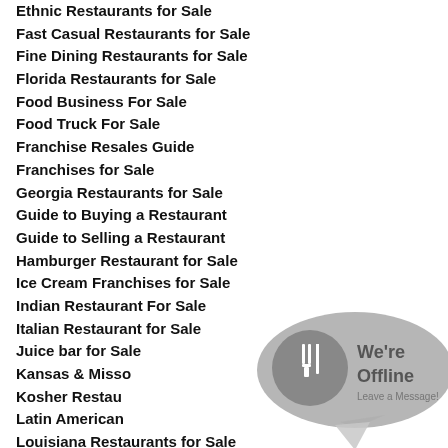Ethnic Restaurants for Sale
Fast Casual Restaurants for Sale
Fine Dining Restaurants for Sale
Florida Restaurants for Sale
Food Business For Sale
Food Truck For Sale
Franchise Resales Guide
Franchises for Sale
Georgia Restaurants for Sale
Guide to Buying a Restaurant
Guide to Selling a Restaurant
Hamburger Restaurant for Sale
Ice Cream Franchises for Sale
Indian Restaurant For Sale
Italian Restaurant for Sale
Juice bar for Sale
Kansas & Missouri Restaurants for Sale
Kosher Restaurants for Sale
Latin American Restaurants for Sale
Louisiana Restaurants for Sale
Low Cost Food Franchises for Sale
Mexican Restaurants for Sale
[Figure (other): We're Offline - Leave a Message chat bubble overlay with fork and knife icon]